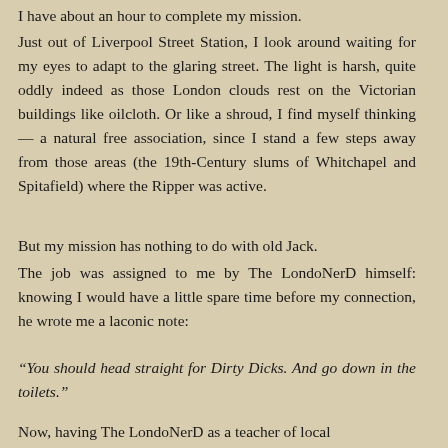I have about an hour to complete my mission.
Just out of Liverpool Street Station, I look around waiting for my eyes to adapt to the glaring street. The light is harsh, quite oddly indeed as those London clouds rest on the Victorian buildings like oilcloth. Or like a shroud, I find myself thinking — a natural free association, since I stand a few steps away from those areas (the 19th-Century slums of Whitchapel and Spitafield) where the Ripper was active.
But my mission has nothing to do with old Jack.
The job was assigned to me by The LondoNerD himself: knowing I would have a little spare time before my connection, he wrote me a laconic note:
“You should head straight for Dirty Dicks. And go down in the toilets.”
Now, having The LondoNerD as a teacher of local